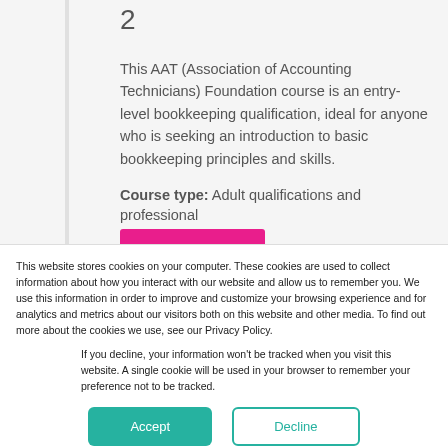2
This AAT (Association of Accounting Technicians) Foundation course is an entry-level bookkeeping qualification, ideal for anyone who is seeking an introduction to basic bookkeeping principles and skills.
Course type: Adult qualifications and professional
This website stores cookies on your computer. These cookies are used to collect information about how you interact with our website and allow us to remember you. We use this information in order to improve and customize your browsing experience and for analytics and metrics about our visitors both on this website and other media. To find out more about the cookies we use, see our Privacy Policy.
If you decline, your information won't be tracked when you visit this website. A single cookie will be used in your browser to remember your preference not to be tracked.